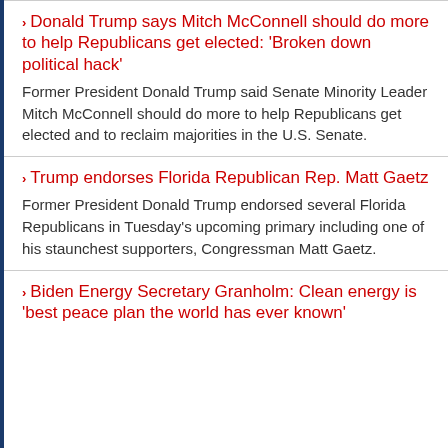Donald Trump says Mitch McConnell should do more to help Republicans get elected: 'Broken down political hack'
Former President Donald Trump said Senate Minority Leader Mitch McConnell should do more to help Republicans get elected and to reclaim majorities in the U.S. Senate.
Trump endorses Florida Republican Rep. Matt Gaetz
Former President Donald Trump endorsed several Florida Republicans in Tuesday's upcoming primary including one of his staunchest supporters, Congressman Matt Gaetz.
Biden Energy Secretary Granholm: Clean energy is 'best peace plan the world has ever known'